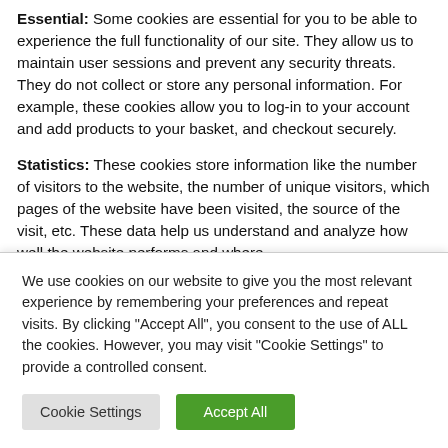Essential: Some cookies are essential for you to be able to experience the full functionality of our site. They allow us to maintain user sessions and prevent any security threats. They do not collect or store any personal information. For example, these cookies allow you to log-in to your account and add products to your basket, and checkout securely.
Statistics: These cookies store information like the number of visitors to the website, the number of unique visitors, which pages of the website have been visited, the source of the visit, etc. These data help us understand and analyze how well the website performs and where...
We use cookies on our website to give you the most relevant experience by remembering your preferences and repeat visits. By clicking "Accept All", you consent to the use of ALL the cookies. However, you may visit "Cookie Settings" to provide a controlled consent.